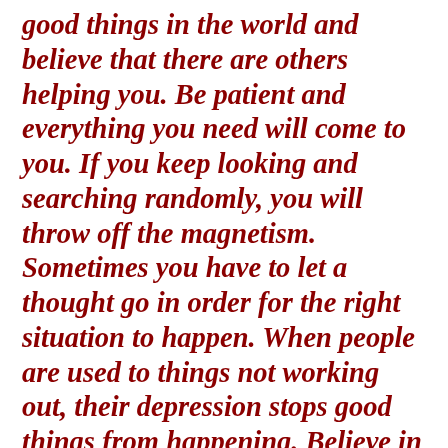good things in the world and believe that there are others helping you. Be patient and everything you need will come to you. If you keep looking and searching randomly, you will throw off the magnetism. Sometimes you have to let a thought go in order for the right situation to happen. When people are used to things not working out, their depression stops good things from happening. Believe in change.”